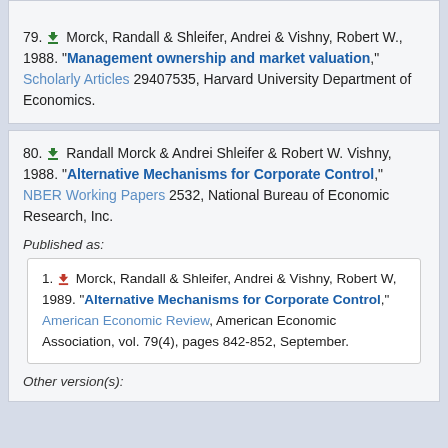79. [download icon] Morck, Randall & Shleifer, Andrei & Vishny, Robert W., 1988. "Management ownership and market valuation," Scholarly Articles 29407535, Harvard University Department of Economics.
80. [download icon] Randall Morck & Andrei Shleifer & Robert W. Vishny, 1988. "Alternative Mechanisms for Corporate Control," NBER Working Papers 2532, National Bureau of Economic Research, Inc.
Published as:
1. [download icon] Morck, Randall & Shleifer, Andrei & Vishny, Robert W, 1989. "Alternative Mechanisms for Corporate Control," American Economic Review, American Economic Association, vol. 79(4), pages 842-852, September.
Other version(s):